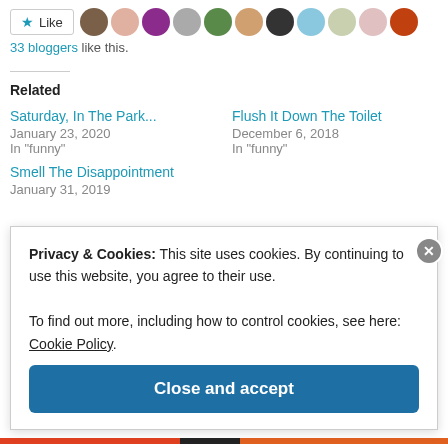[Figure (infographic): Like button with star icon and a strip of 11 blogger avatar thumbnails]
33 bloggers like this.
Related
Saturday, In The Park...
January 23, 2020
In "funny"
Flush It Down The Toilet
December 6, 2018
In "funny"
Smell The Disappointment
January 31, 2019
Privacy & Cookies: This site uses cookies. By continuing to use this website, you agree to their use.
To find out more, including how to control cookies, see here: Cookie Policy
Close and accept